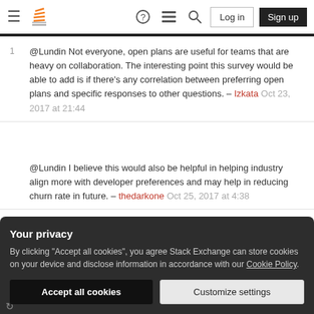Stack Exchange header with hamburger menu, logo, help, chat, search, Log in, Sign up
1 @Lundin Not everyone, open plans are useful for teams that are heavy on collaboration. The interesting point this survey would be able to add is if there's any correlation between preferring open plans and specific responses to other questions. – Izkata Oct 23, 2017 at 21:44
@Lundin I believe this would also be helpful in helping industry align more with developer preferences and may help in reducing churn rate in future. – thedarkone Oct 25, 2017 at 4:38
Add a comment
Your privacy
By clicking "Accept all cookies", you agree Stack Exchange can store cookies on your device and disclose information in accordance with our Cookie Policy.
Accept all cookies | Customize settings